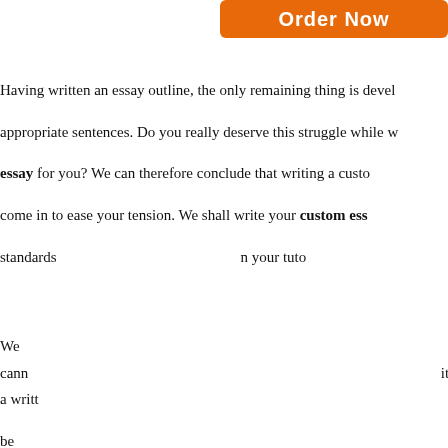[Figure (screenshot): Orange 'Order Now' button partially visible at top right]
Having written an essay outline, the only remaining thing is developing appropriate sentences. Do you really deserve this struggle while we can write an essay for you? We can therefore conclude that writing a custom essay is a must come in to ease your tension. We shall write your custom essay according to standards set by your tutor.
We cannot overemphasize how important it is to stay within a written purpose be focused on making a good paper. It is formation and structure has to ideas need to flow nor too support the essay writing you express
[Figure (screenshot): Purple promotional modal overlay with text: 'Try our service with 15% Discount for all orders above $30.00', code 'E15OFF', 'Apply Code' button, and disclaimer about privacy policy]